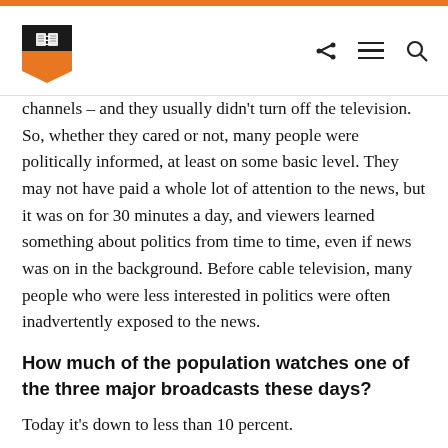Princeton University header with logo and navigation icons
channels – and they usually didn't turn off the television. So, whether they cared or not, many people were politically informed, at least on some basic level. They may not have paid a whole lot of attention to the news, but it was on for 30 minutes a day, and viewers learned something about politics from time to time, even if news was on in the background. Before cable television, many people who were less interested in politics were often inadvertently exposed to the news.
How much of the population watches one of the three major broadcasts these days?
Today it's down to less than 10 percent.
People have a lot more choices today, and they're